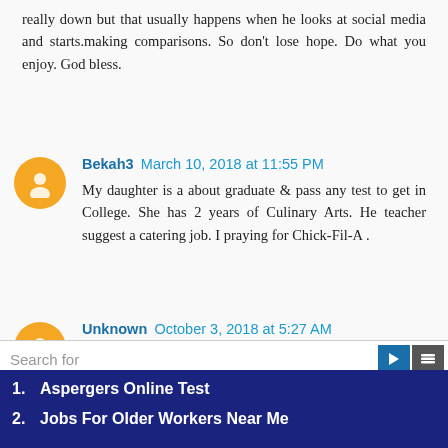really down but that usually happens when he looks at social media and starts.making comparisons. So don't lose hope. Do what you enjoy. God bless.
Bekah3 March 10, 2018 at 11:55 PM
My daughter is a about graduate & pass any test to get in College. She has 2 years of Culinary Arts. He teacher suggest a catering job. I praying for Chick-Fil-A .
Unknown October 3, 2018 at 5:27 AM
You have many gifts to offer with your education. If you are a book lover, try blogging or writing. Book stores like Chapters or online book stores. Research online maybe for job ideas for readers. There may be more out there that you may not be aware of. Never
Search for
1.  Aspergers Online Test
2.  Jobs For Older Workers Near Me